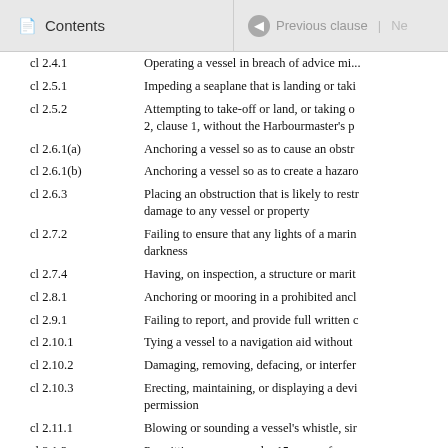Contents | Previous clause | Ne
| Clause | Description |
| --- | --- |
| cl 2.4.1 | Operating a vessel in breach of advice... |
| cl 2.5.1 | Impeding a seaplane that is landing or taki |
| cl 2.5.2 | Attempting to take-off or land, or taking o... 2, clause 1, without the Harbourmaster's p |
| cl 2.6.1(a) | Anchoring a vessel so as to cause an obstr |
| cl 2.6.1(b) | Anchoring a vessel so as to create a hazarc |
| cl 2.6.3 | Placing an obstruction that is likely to restr damage to any vessel or property |
| cl 2.7.2 | Failing to ensure that any lights of a marin darkness |
| cl 2.7.4 | Having, on inspection, a structure or marit |
| cl 2.8.1 | Anchoring or mooring in a prohibited anch |
| cl 2.9.1 | Failing to report, and provide full written c |
| cl 2.10.1 | Tying a vessel to a navigation aid without |
| cl 2.10.2 | Damaging, removing, defacing, or interfer |
| cl 2.10.3 | Erecting, maintaining, or displaying a devi permission |
| cl 2.11.1 | Blowing or sounding a vessel's whistle, sir |
| cl 3.1.2 | Permitting a person under 15 years of age capable of exceeding 10 knots, without su |
| cl 3.2.1(a) | Exceeding 5 knots within 50 metres of anc |
| cl 3.2.1(b) | Exceeding 5 knots within 50 metres of... |